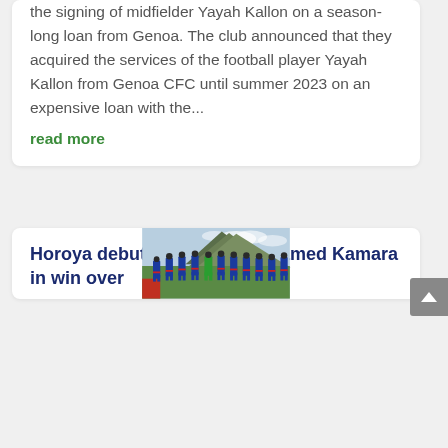the signing of midfielder Yayah Kallon on a season-long loan from Genoa. The club announced that they acquired the services of the football player Yayah Kallon from Genoa CFC until summer 2023 on an expensive loan with the...
read more
[Figure (photo): Football team photo: eleven players in blue and red uniforms posing on a green pitch with a goalkeeper in green at center, mountain and cloudy sky in background.]
Horoya debut for keeper Mohamed Kamara in win over